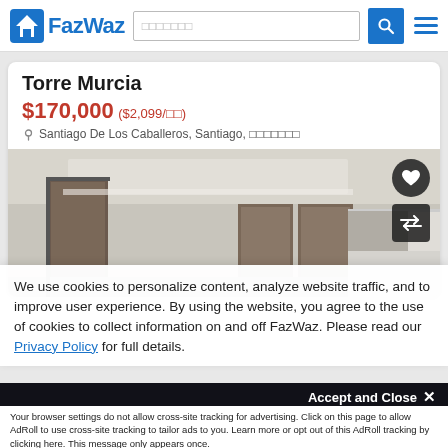FazWaz
Torre Murcia
$170,000 ($2,099/ตร.ม)
Santiago De Los Caballeros, Santiago, สาธารณรัฐโดมินิกัน
[Figure (photo): Interior photo of a modern apartment kitchen/living area with white walls and cabinets, dark wooden door panels visible]
We use cookies to personalize content, analyze website traffic, and to improve user experience. By using the website, you agree to the use of cookies to collect information on and off FazWaz. Please read our Privacy Policy for full details.
Accept and Close ✕
Your browser settings do not allow cross-site tracking for advertising. Click on this page to allow AdRoll to use cross-site tracking to tailor ads to you. Learn more or opt out of this AdRoll tracking by clicking here. This message only appears once.